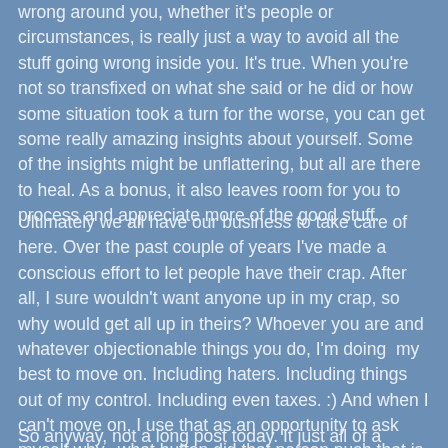wrong around you, whether it's people or circumstances, is really just a way to avoid all the stuff going wrong inside you. It's true. When you're not so transfixed on what she said or he did or how some situation took a turn for the worse, you can get some really amazing insights about yourself. Some of the insights might be unflattering, but all are there to heal. As a bonus, it also leaves room for you to process and appreciate more of the good stuff.
Ultimately we all have our business to take care of here. Over the past couple of years I've made a conscious effort to let people have their crap. After all, I sure wouldn't want anyone up in my crap, so why would get all up in theirs? Whoever you are and whatever objectionable things you do, I'm doing  my best to move on. Including haters. Including things out of my control. Including even taxes. :) And when I can't move on, I use that as an opportunity to ask myself why...what button did that person push that is so painful for me? Because our "hate" for others really isn't about them. It's about something unhealed within us.
So anyway, not a long post today. It just all of a sudde...